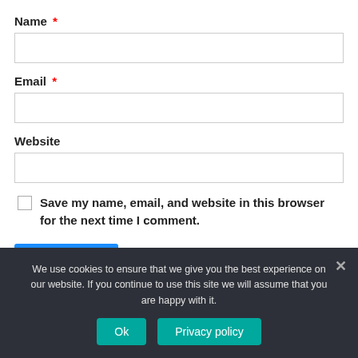Name *
Email *
Website
Save my name, email, and website in this browser for the next time I comment.
We use cookies to ensure that we give you the best experience on our website. If you continue to use this site we will assume that you are happy with it.
Ok
Privacy policy